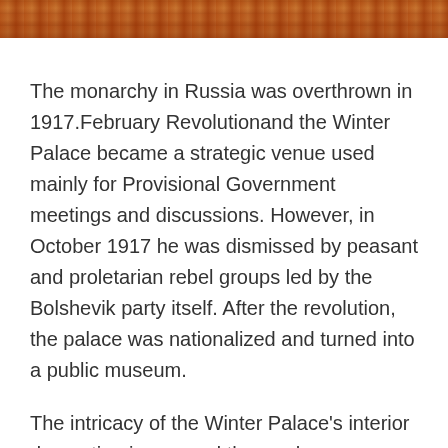[Figure (photo): Top strip showing a cropped photograph, appears to be an ornate interior scene with warm reddish-brown tones.]
The monarchy in Russia was overthrown in 1917.February Revolutionand the Winter Palace became a strategic venue used mainly for Provisional Government meetings and discussions. However, in October 1917 he was dismissed by peasant and proletarian rebel groups led by the Bolshevik party itself. After the revolution, the palace was nationalized and turned into a public museum.
The intricacy of the Winter Palace's interior decoration impressed those who once visited the royal family in the same way that it affects people today. Millions of visitors from all over the world marveled and admired the interior design of the palace. Wandering through the different rooms, there is the opportunity to learn about the various architectural and decorative styles that have interested the world in the past century and a half: Elizabethan Baroque, Classicism and